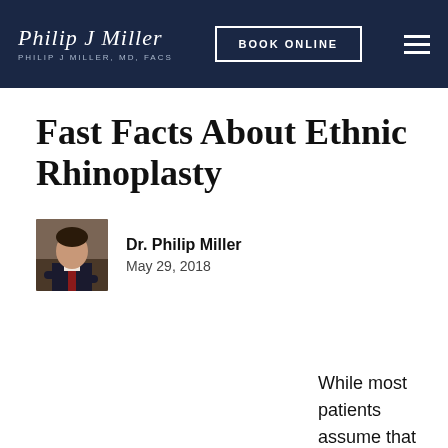Philip J Miller, MD, FACS — BOOK ONLINE
Fast Facts About Ethnic Rhinoplasty
Dr. Philip Miller
May 29, 2018
While most patients assume that all nasal